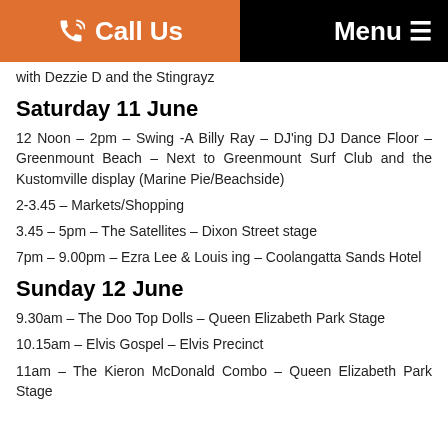Call Us  Menu
with Dezzie D and the Stingrayz
Saturday 11 June
12 Noon – 2pm – Swing -A Billy Ray – DJ'ing DJ Dance Floor – Greenmount Beach – Next to Greenmount Surf Club and the Kustomville display (Marine Pie/Beachside)
2-3.45 – Markets/Shopping
3.45 – 5pm – The Satellites – Dixon Street stage
7pm – 9.00pm – Ezra Lee & Louis ing – Coolangatta Sands Hotel
Sunday 12 June
9.30am – The Doo Top Dolls – Queen Elizabeth Park Stage
10.15am – Elvis Gospel – Elvis Precinct
11am – The Kieron McDonald Combo – Queen Elizabeth Park Stage